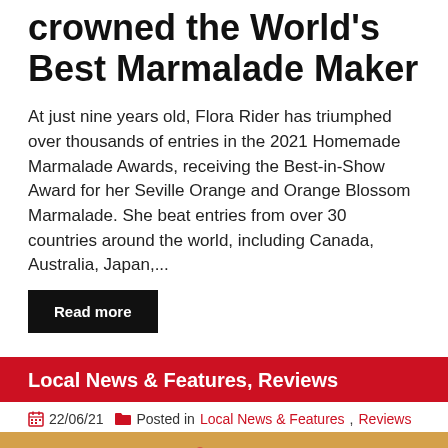crowned the World's Best Marmalade Maker
At just nine years old, Flora Rider has triumphed over thousands of entries in the 2021 Homemade Marmalade Awards, receiving the Best-in-Show Award for her Seville Orange and Orange Blossom Marmalade. She beat entries from over 30 countries around the world, including Canada, Australia, Japan,...
Read more
Local News & Features, Reviews
22/06/21   Posted in Local News & Features, Reviews
[Figure (photo): Photo of marmalade/food dish with flowers decoration]